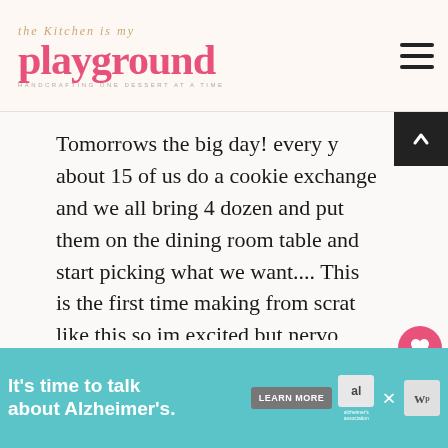The Kitchen is my Playground — HANDCRAFTING ONE DESSERT AT A TIME
Tomorrows the big day! every y... about 15 of us do a cookie exchange and we all bring 4 dozen and put them on the dining room table and start picking what we want.... This is the first time making from scratch like this so im excited but nervo... They look sooo good and if they taste half as good im gonna... cookie of the season!!
[Figure (other): What's Next widget showing Old-Fashioned Fruitcake thumbnail]
[Figure (other): Advertisement banner: It's time to talk about Alzheimer's. LEARN MORE — Alzheimer's Association]